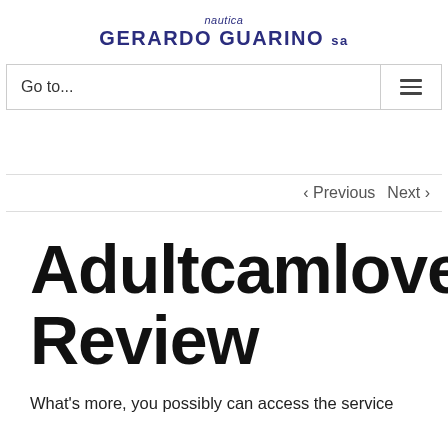nautica GERARDO GUARINO sa
Go to...
< Previous   Next >
Adultcamlover Review
What's more, you possibly can access the service